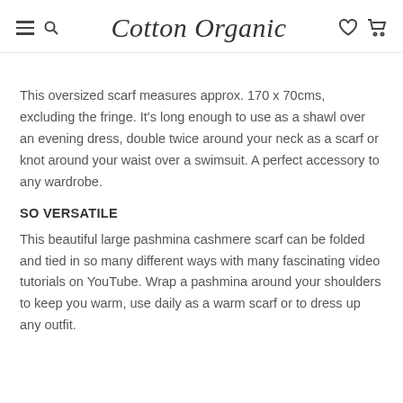Cotton Organic
This oversized scarf measures approx. 170 x 70cms, excluding the fringe. It's long enough to use as a shawl over an evening dress, double twice around your neck as a scarf or knot around your waist over a swimsuit. A perfect accessory to any wardrobe.
SO VERSATILE
This beautiful large pashmina cashmere scarf can be folded and tied in so many different ways with many fascinating video tutorials on YouTube. Wrap a pashmina around your shoulders to keep you warm, use daily as a warm scarf or to dress up any outfit.